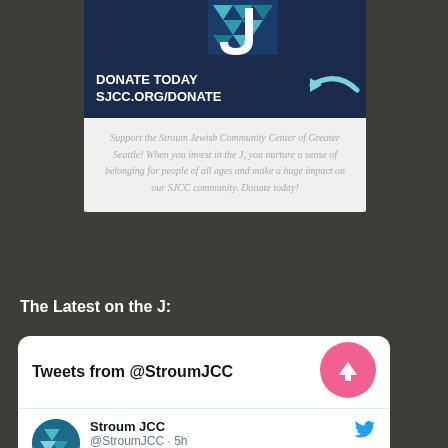[Figure (illustration): Donation banner with dark navy background showing 'DONATE TODAY SJCC.ORG/DONATE' text in white bold letters with a light blue arrow, and a geometric 'J' logo above.]
Support the Stroum Jewish Community Center of Greater Seattle! When you invest in the J, you nurture a sense of belonging for people of all ages and make a huge impact on our SJCC community. Donate today!
The Latest on the J:
Tweets from @StroumJCC
Stroum JCC @StroumJCC · 5h